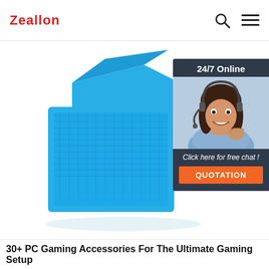Zeallon
[Figure (photo): Blue cube-shaped Bluetooth speaker product photo on white background]
[Figure (infographic): 24/7 Online chat widget with customer service representative photo, 'Click here for free chat!' text, and orange QUOTATION button]
30+ PC Gaming Accessories For The Ultimate Gaming Setup